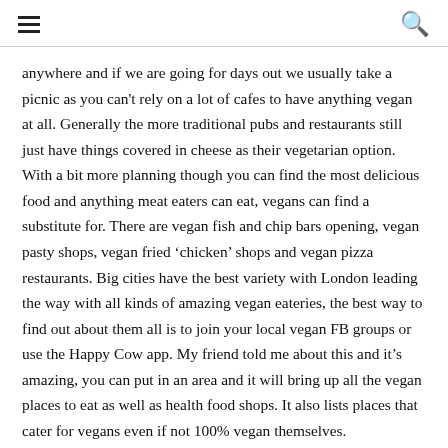[hamburger menu] [search icon]
anywhere and if we are going for days out we usually take a picnic as you can't rely on a lot of cafes to have anything vegan at all. Generally the more traditional pubs and restaurants still just have things covered in cheese as their vegetarian option. With a bit more planning though you can find the most delicious food and anything meat eaters can eat, vegans can find a substitute for. There are vegan fish and chip bars opening, vegan pasty shops, vegan fried ‘chicken’ shops and vegan pizza restaurants. Big cities have the best variety with London leading the way with all kinds of amazing vegan eateries, the best way to find out about them all is to join your local vegan FB groups or use the Happy Cow app. My friend told me about this and it’s amazing, you can put in an area and it will bring up all the vegan places to eat as well as health food shops. It also lists places that cater for vegans even if not 100% vegan themselves.
I’ve found lots of places this way. If you are near Dorset, like me,